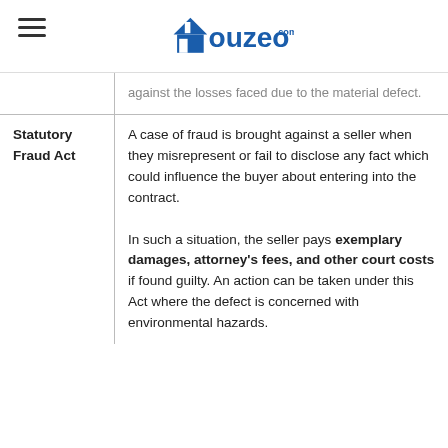Houzeo.com
|  | against the losses faced due to the material defect. |
| Statutory Fraud Act | A case of fraud is brought against a seller when they misrepresent or fail to disclose any fact which could influence the buyer about entering into the contract.

In such a situation, the seller pays exemplary damages, attorney's fees, and other court costs if found guilty. An action can be taken under this Act where the defect is concerned with environmental hazards. |